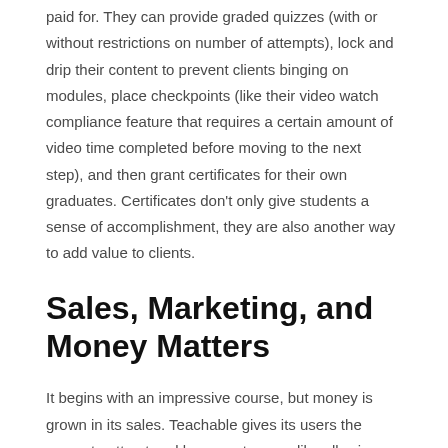paid for. They can provide graded quizzes (with or without restrictions on number of attempts), lock and drip their content to prevent clients binging on modules, place checkpoints (like their video watch compliance feature that requires a certain amount of video time completed before moving to the next step), and then grant certificates for their own graduates. Certificates don't only give students a sense of accomplishment, they are also another way to add value to clients.
Sales, Marketing, and Money Matters
It begins with an impressive course, but money is grown in its sales. Teachable gives its users the power to attract and keep customers: like allowing landing pages to connect to Facebook ads, setting strategic upselling buttons, and displaying customer testimonials, product benefits and badges. They include the capability to set up discussion forums that build a sense of